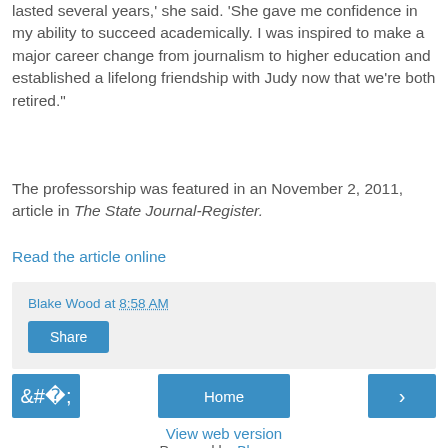lasted several years,' she said. 'She gave me confidence in my ability to succeed academically. I was inspired to make a major career change from journalism to higher education and established a lifelong friendship with Judy now that we're both retired.'
The professorship was featured in an November 2, 2011, article in The State Journal-Register.
Read the article online
Blake Wood at 8:58 AM
Share
Home
View web version
Powered by Blogger.